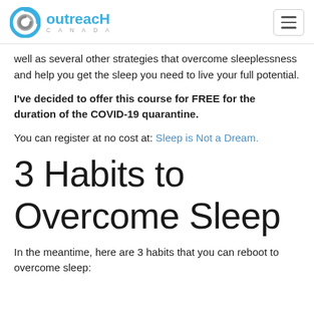Outreach Canada
well as several other strategies that overcome sleeplessness and help you get the sleep you need to live your full potential.
I've decided to offer this course for FREE for the duration of the COVID-19 quarantine.
You can register at no cost at: Sleep is Not a Dream.
3 Habits to Overcome Sleep
In the meantime, here are 3 habits that you can reboot to overcome sleep: